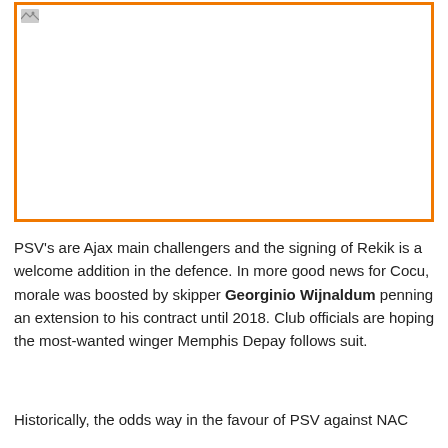[Figure (photo): Image placeholder with orange border, broken image icon visible in top-left corner]
PSV's are Ajax main challengers and the signing of Rekik is a welcome addition in the defence. In more good news for Cocu, morale was boosted by skipper Georginio Wijnaldum penning an extension to his contract until 2018. Club officials are hoping the most-wanted winger Memphis Depay follows suit.
Historically, the odds way in the favour of PSV against NAC